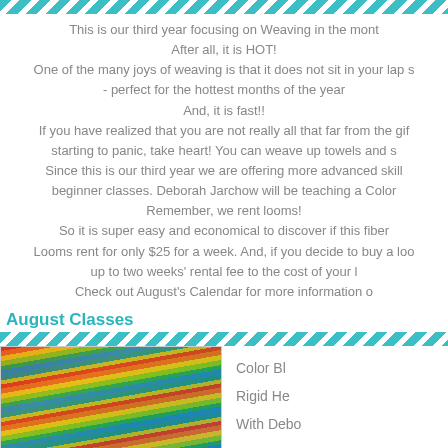decorative stripe bar
This is our third year focusing on Weaving in the month of August. After all, it is HOT! One of the many joys of weaving is that it does not sit in your lap so it keeps you cool - perfect for the hottest months of the year. And, it is fast!! If you have realized that you are not really all that far from the gift giving season and are starting to panic, take heart! You can weave up towels and scarves in no time at all. Since this is our third year we are offering more advanced skills classes as well as beginner classes. Deborah Jarchow will be teaching a Color Blending class. Remember, we rent looms! So it is super easy and economical to discover if this fiber art is for you. Looms rent for only $25 for a week. And, if you decide to buy a loom, we will apply up to two weeks' rental fee to the cost of your loom. Check out August's Calendar for more information on classes.
August Classes
decorative stripe bar
[Figure (photo): Close-up photo of colorful yarn/thread in rainbow stripes including red, orange, yellow, green, teal, and blue]
Color Bl...
Rigid He...
With Debo...